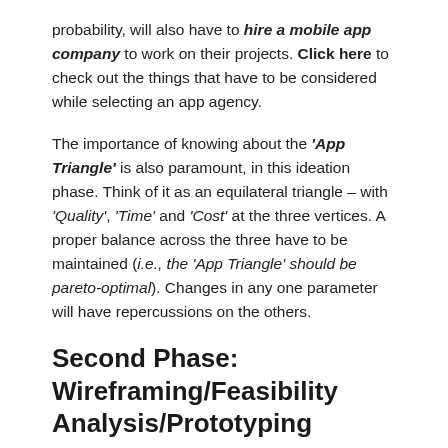probability, will also have to hire a mobile app company to work on their projects. Click here to check out the things that have to be considered while selecting an app agency.
The importance of knowing about the 'App Triangle' is also paramount, in this ideation phase. Think of it as an equilateral triangle – with 'Quality', 'Time' and 'Cost' at the three vertices. A proper balance across the three have to be maintained (i.e., the 'App Triangle' should be pareto-optimal). Changes in any one parameter will have repercussions on the others.
Second Phase: Wireframing/Feasibility Analysis/Prototyping
A seemingly good app idea might face many glitches during the implementation stage. To avoid such problems,